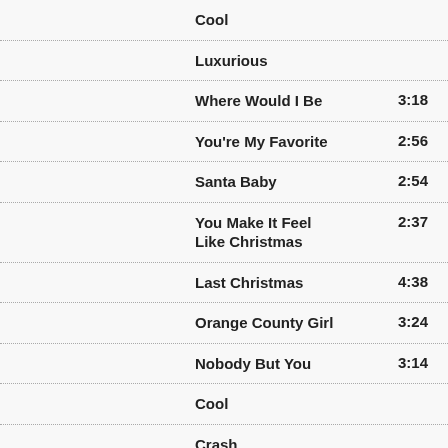Cool
Luxurious
Where Would I Be	3:18
You're My Favorite	2:56
Santa Baby	2:54
You Make It Feel Like Christmas	2:37
Last Christmas	4:38
Orange County Girl	3:24
Nobody But You	3:14
Cool
Crash